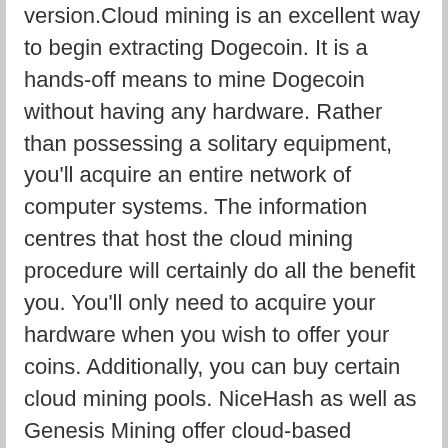version.Cloud mining is an excellent way to begin extracting Dogecoin. It is a hands-off means to mine Dogecoin without having any hardware. Rather than possessing a solitary equipment, you'll acquire an entire network of computer systems. The information centres that host the cloud mining procedure will certainly do all the benefit you. You'll only need to acquire your hardware when you wish to offer your coins. Additionally, you can buy certain cloud mining pools. NiceHash as well as Genesis Mining offer cloud-based Scrypt-based mining.To beginning extracting Dogecoin, you'll need an ASIC or GPU/CPU miner. This kind of maker is called an ASIC. It raises the quantity of coins you can gather and also enhances
the amount of cash you can spend. This sort of equipment is costly, and is suggested only for specialists. It is feasible to make a suitable earnings with cloud mining. The most effective means to start mining is to download the software. If you know with the os, pick an ASIC or GPU/CPU. You can start mining Doge coins in the house. You